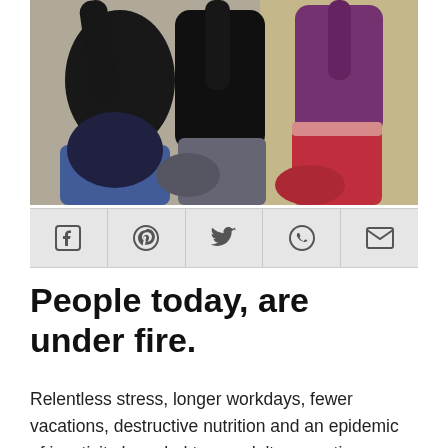[Figure (photo): Two or three people in exercise/yoga poses, wearing dark and red athletic clothing, against a light wall background]
[Figure (infographic): Social sharing bar with five icons: Facebook, Pinterest, Twitter, WhatsApp, Email]
People today, are under fire.
Relentless stress, longer workdays, fewer vacations, destructive nutrition and an epidemic of inactivity have led to an adult generation plagued by chronic pain,